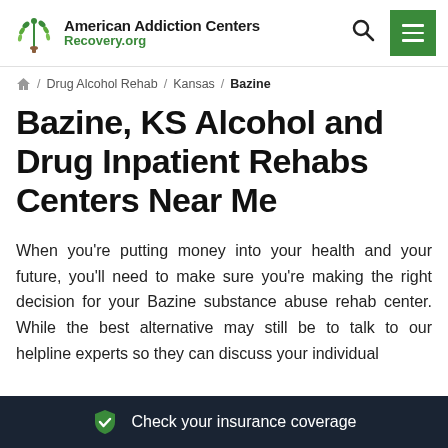American Addiction Centers Recovery.org
/ Drug Alcohol Rehab / Kansas / Bazine
Bazine, KS Alcohol and Drug Inpatient Rehabs Centers Near Me
When you're putting money into your health and your future, you'll need to make sure you're making the right decision for your Bazine substance abuse rehab center. While the best alternative may still be to talk to our helpline experts so they can discuss your individual
Check your insurance coverage